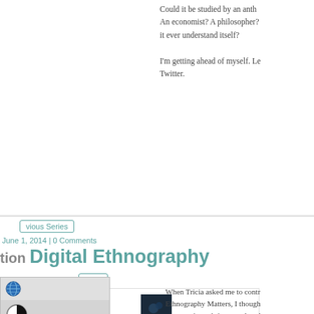Could it be studied by an anth An economist? A philosopher? it ever understand itself?
I'm getting ahead of myself. Le Twitter.
vious Series
June 1, 2014 | 0 Comments
tion Digital Ethnography
eries
[Figure (screenshot): Accessibility widget overlay with globe, contrast, and text-size icons]
[Figure (photo): Small thumbnail image, dark blue-toned photo]
On Digital Ethnography, What do computers have to do with
When Tricia asked me to contr Ethnography Matters, I though opportunity to bring together th ethnography that I have collec years. I would like to push the computational usage in ethno here. I really want to expand t ethnography beyond the use o smart phones as devices to in